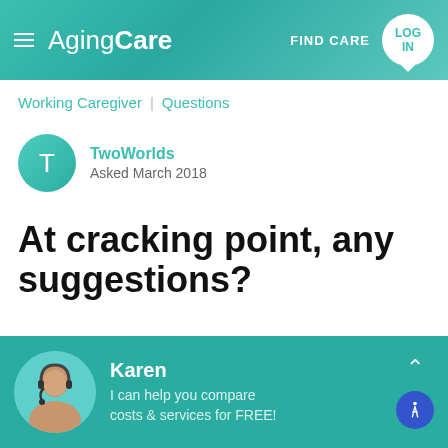AgingCare  FIND CARE  LOG IN
Working Caregiver | Questions
TwoWorlds
Asked March 2018
At cracking point, any suggestions?
+ Follow   Share   Aa
Karen
I can help you compare costs & services for FREE!